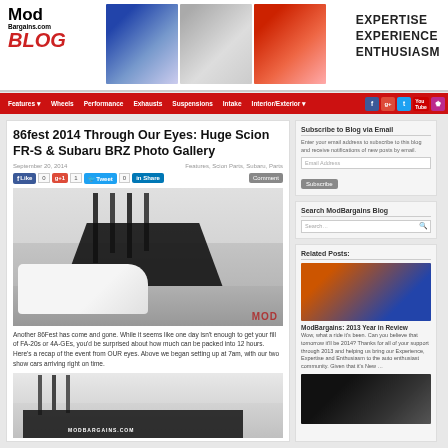ModBargains.com BLOG — EXPERTISE EXPERIENCE ENTHUSIASM
Features | Wheels | Performance | Exhausts | Suspensions | Intake | Interior/Exterior
86fest 2014 Through Our Eyes: Huge Scion FR-S & Subaru BRZ Photo Gallery
September 20, 2014
Features, Scion Parts, Subaru, Parts
[Figure (photo): White Scion FR-S / Subaru BRZ at ModBargains booth at 86Fest 2014 event with banner flags and black tent canopy]
Another 86Fest has come and gone. While it seems like one day isn't enough to get your fill of FA-20s or 4A-GEs, you'd be surprised about how much can be packed into 12 hours. Here's a recap of the event from OUR eyes. Above we began setting up at 7am, with our two show cars arriving right on time.
[Figure (photo): Second photo showing booth setup with banner flags and black tent at 86Fest 2014]
Subscribe to Blog via Email
Enter your email address to subscribe to this blog and receive notifications of new posts by email.
Email Address
Subscribe
Search ModBargains Blog
Related Posts:
[Figure (photo): ModBargains 2013 Year in Review - orange and blue cars parked in lot]
ModBargains: 2013 Year in Review Wow, what a ride it's been. Can you believe that tomorrow it'll be 2014? Thanks for all of your support through 2013 and helping us bring our Experience, Expertise and Enthusiasm to the auto enthusiast community. Given that it's New ...
[Figure (photo): Dark sports car with large rear wing - related post image]